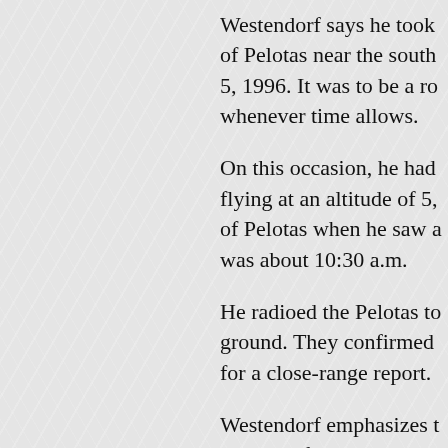Westendorf says he took of Pelotas near the south 5, 1996. It was to be a ro whenever time allows.
On this occasion, he had flying at an altitude of 5, of Pelotas when he saw a was about 10:30 a.m.
He radioed the Pelotas to ground. They confirmed for a close-range report.
Westendorf emphasizes t accounts for his initial w he might be in danger.
When he got close to the piloting experience he ha had done stunt training i had become acquainted w